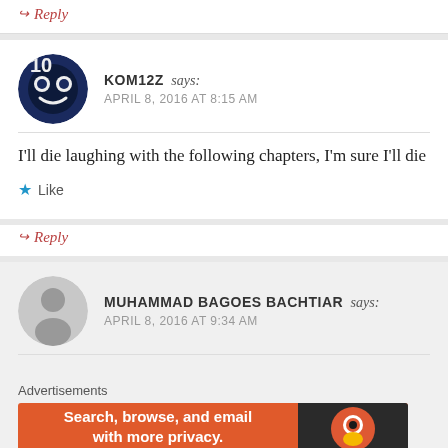Reply
KOM12Z says: APRIL 8, 2016 AT 8:15 AM
I'll die laughing with the following chapters, I'm sure I'll die
Like
Reply
MUHAMMAD BAGOES BACHTIAR says: APRIL 8, 2016 AT 9:34 AM
Advertisements
[Figure (infographic): DuckDuckGo advertisement banner: orange left section with text 'Search, browse, and email with more privacy. All in One Free App' and dark right section with DuckDuckGo logo]